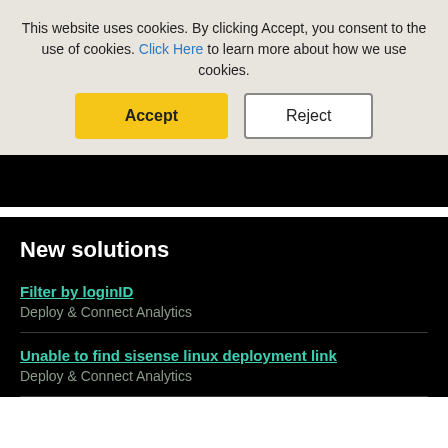This website uses cookies. By clicking Accept, you consent to the use of cookies. Click Here to learn more about how we use cookies.
Accept
Reject
New solutions
Filter by loginID
Deploy & Connect Analytics
Unable to find sisense linux deployment link
Deploy & Connect Analytics